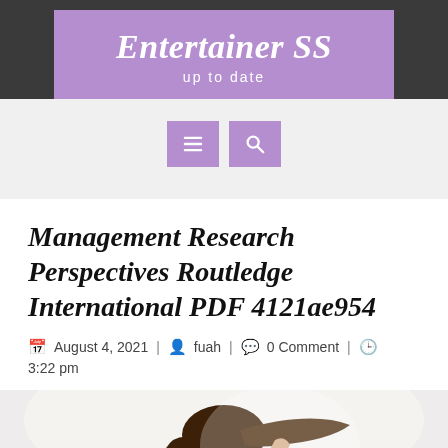Entertainer SS
up to date
[Figure (screenshot): Navigation bar with hamburger menu icon and search icon, both on purple backgrounds]
Management Research Perspectives Routledge International PDF 4121ae954
August 4, 2021 | fuah | 0 Comment | 3:22 pm
[Figure (photo): Photo of a young Asian woman smiling with hair blowing in the wind, cropped to show head and upper body]